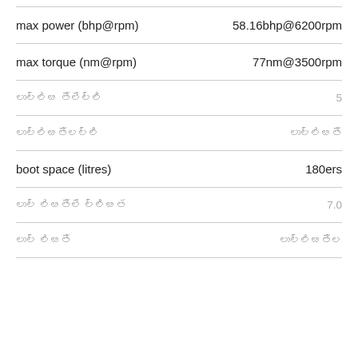| Attribute | Value |
| --- | --- |
| max power (bhp@rpm) | 58.16bhp@6200rpm |
| max torque (nm@rpm) | 77nm@3500rpm |
| (non-latin text) | 5 |
| (non-latin text) | (non-latin text) |
| boot space (litres) | 180ers |
| (non-latin text) | 7.0 |
| (non-latin text) | (non-latin text) |